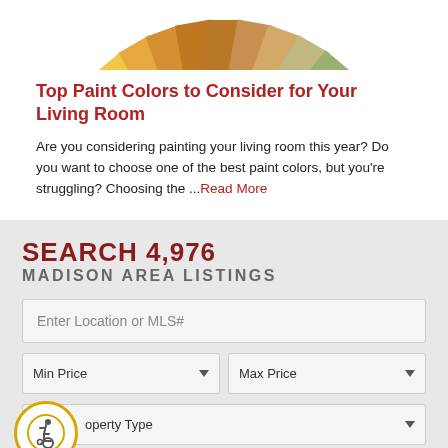[Figure (photo): Fan of paint color swatches in warm and cool tones including oranges, yellows, greens, blues, and grays]
Top Paint Colors to Consider for Your Living Room
Are you considering painting your living room this year? Do you want to choose one of the best paint colors, but you're struggling? Choosing the ...Read More
SEARCH 4,976 MADISON AREA LISTINGS
[Figure (screenshot): Property search form with fields for location/MLS#, min price, max price, and property type dropdowns]